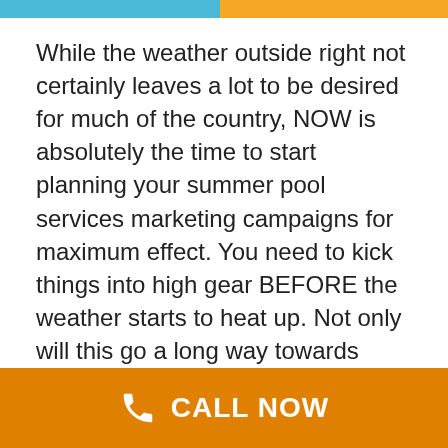While the weather outside right not certainly leaves a lot to be desired for much of the country, NOW is absolutely the time to start planning your summer pool services marketing campaigns for maximum effect. You need to kick things into high gear BEFORE the weather starts to heat up. Not only will this go a long way towards making sure that you beat the summer rush, but you'll also guarantee that you stay at the top of your prospects' minds all season long. Taking Your Pool Services Marketing to the Next Level By far, the most important step you can take to really make sure that your seasonal marketing campaign gets off on the right foot involves
CALL NOW